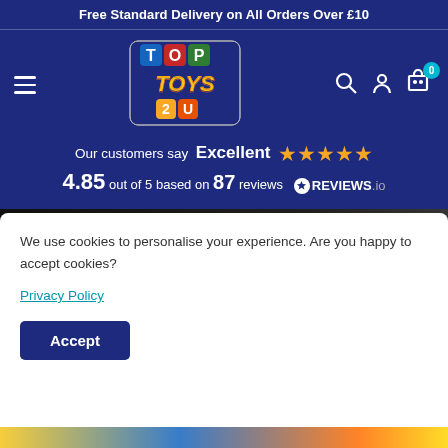Free Standard Delivery on All Orders Over £10
[Figure (logo): Top Toys 2U logo with colorful block letters on dark blue background]
Our customers say Excellent ★★★★★ 4.85 out of 5 based on 87 reviews ⊙REVIEWS.io
[Figure (photo): Hot Wheels Character Cars product packaging, black background with orange Hot Wheels flame logo, age 3+ indicator]
We use cookies to personalise your experience. Are you happy to accept cookies?
Privacy Policy
Accept